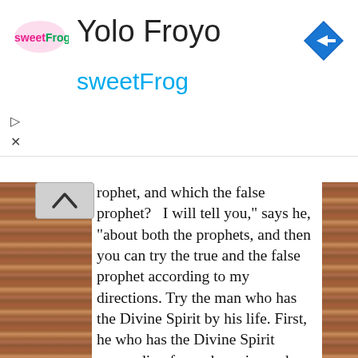[Figure (logo): sweetFrog logo with pink 'sweet' and green 'Frog' text]
Yolo Froyo
sweetFrog
[Figure (other): Blue diamond navigation arrow icon]
rophet, and which the false prophet?   "I will tell you," says he, "about both the prophets, and then you can try the true and the false prophet according to my directions. Try the man who has the Divine Spirit by his life. First, he who has the Divine Spirit proceeding from above is meek, and peaceable, and humble, and refrains from, all iniquity and the vain desire of this world, and contents himself with fewer wants than those of other men, and when asked he makes no reply; nor does he speak privately, nor when man wishes the spirit to speak does the Holy Spirit speak, but it speaks only when God wishes it to speak. When, then, a man having the Divine Spirit comes into an assembly of righteous men who have faith in the Divine Spirit, and this assembly of men offers up prayer to God, then the angel of the prophetic Spirit, who is destined for him, fills the man; and the man being filled with the Holy Spirit, speaks to the multitude as the Lord wishes. Thus, then, will the Spirit of Divinity become manifest. Whatever power